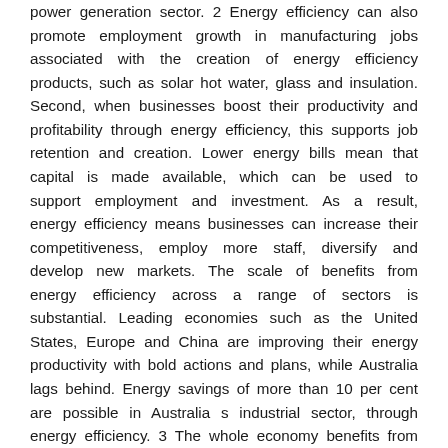power generation sector. 2 Energy efficiency can also promote employment growth in manufacturing jobs associated with the creation of energy efficiency products, such as solar hot water, glass and insulation. Second, when businesses boost their productivity and profitability through energy efficiency, this supports job retention and creation. Lower energy bills mean that capital is made available, which can be used to support employment and investment. As a result, energy efficiency means businesses can increase their competitiveness, employ more staff, diversify and develop new markets. The scale of benefits from energy efficiency across a range of sectors is substantial. Leading economies such as the United States, Europe and China are improving their energy productivity with bold actions and plans, while Australia lags behind. Energy savings of more than 10 per cent are possible in Australia s industrial sector, through energy efficiency. 3 The whole economy benefits from taking up these opportunities. The American Alliance Commission on Energy Efficiency Policy has estimated that 1.3 million additional jobs in the United States will be created by doubling energy productivity by Victorian businesses need competitively priced energy and a secure